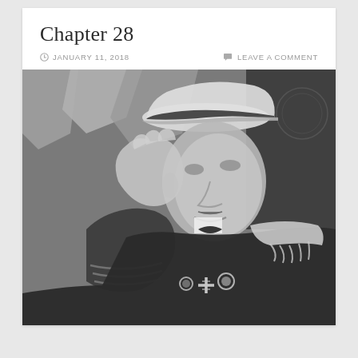Chapter 28
JANUARY 11, 2018   LEAVE A COMMENT
[Figure (photo): Black and white photograph of a military officer in uniform with epaulettes and medals, saluting while wearing a peaked cap, with flags in the background.]